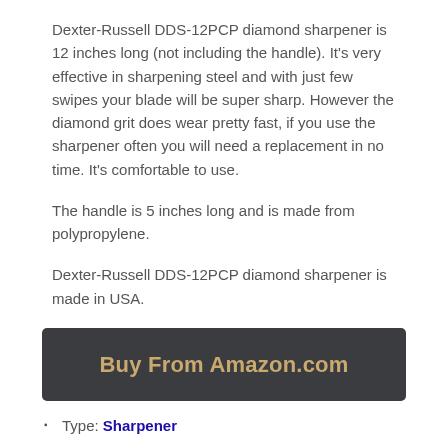Dexter-Russell DDS-12PCP diamond sharpener is 12 inches long (not including the handle). It's very effective in sharpening steel and with just few swipes your blade will be super sharp. However the diamond grit does wear pretty fast, if you use the sharpener often you will need a replacement in no time. It's comfortable to use.
The handle is 5 inches long and is made from polypropylene.
Dexter-Russell DDS-12PCP diamond sharpener is made in USA.
[Figure (other): Button: Buy From Amazon.com — dark background with gold text]
Type: Sharpener
Material: Steel with diamond dust coating
Rod length (without handle): 12 inches